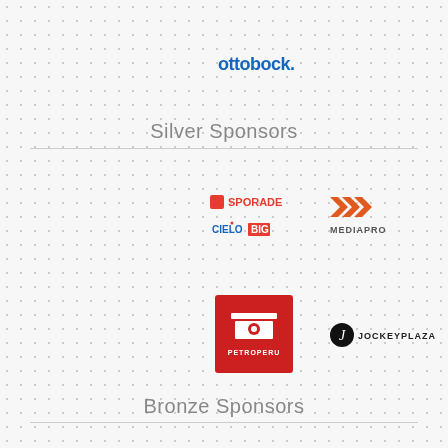[Figure (logo): Ottobock logo in blue bold text with period: 'ottobock.']
Silver Sponsors
[Figure (logo): Sporade logo with S icon, CIELO and BIG text logos grouped together]
[Figure (logo): MEDIAPRO logo with orange triple-chevron icon]
[Figure (logo): Petroperu logo: red square with white helmet/building icon and PETROPERU text]
[Figure (logo): Jockey Plaza logo: black circle with J and JOCKEYPLAZA text]
Bronze Sponsors